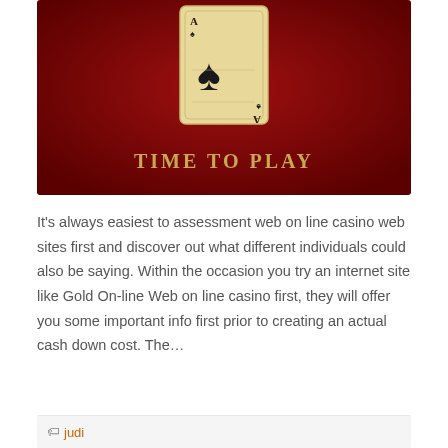[Figure (illustration): Dark red/crimson background with an ace of spades playing card (vintage/aged appearance, golden-cream color) centered, and text 'TIME TO PLAY' in gold/tan serif letters below the card]
It's always easiest to assessment web on line casino web sites first and discover out what different individuals could also be saying. Within the occasion you try an internet site like Gold On-line Web on line casino first, they will offer you some important info first prior to creating an actual cash down cost. The…
judi